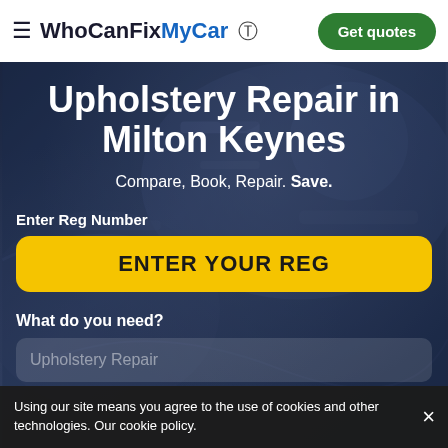WhoCanFixMyCar — Get quotes
Upholstery Repair in Milton Keynes
Compare, Book, Repair. Save.
Enter Reg Number
ENTER YOUR REG
What do you need?
Upholstery Repair
Using our site means you agree to the use of cookies and other technologies. Our cookie policy.